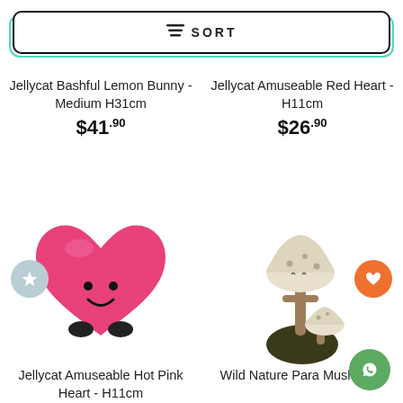SORT
Jellycat Bashful Lemon Bunny - Medium H31cm
$41.90
Jellycat Amuseable Red Heart - H11cm
$26.90
[Figure (photo): Pink plush heart toy with smiley face and small dark feet]
[Figure (photo): Mushroom cluster plush toy on dark grassy base]
Jellycat Amuseable Hot Pink Heart - H11cm
Wild Nature Para Mushroom